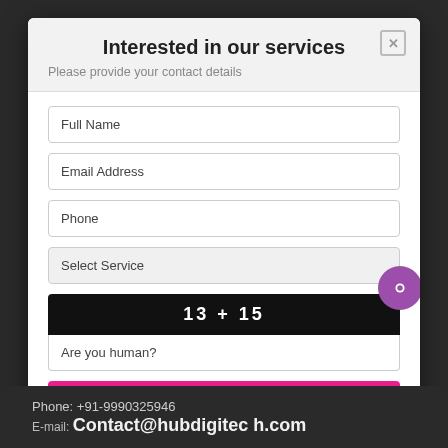Interested in our services
Please provide your contact details
Full Name
Email Address
Phone
Select Service
13 + 15
Are you human?
SUBMIT
Note: For Career & Job application, please visit Career page
By Submitting Form You Acknowledge All Are T&C.
Phone: +91-9990325946
E-mail: Contact@hubdigitec h.com